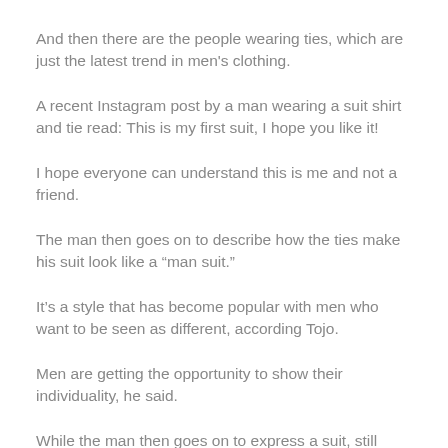And then there are the people wearing ties, which are just the latest trend in men's clothing.
A recent Instagram post by a man wearing a suit shirt and tie read: This is my first suit, I hope you like it!
I hope everyone can understand this is me and not a friend.
The man then goes on to describe how the ties make his suit look like a “man suit.”
It’s a style that has become popular with men who want to be seen as different, according Tojo.
Men are getting the opportunity to show their individuality, he said.
While the man then goes on to express a suit, still